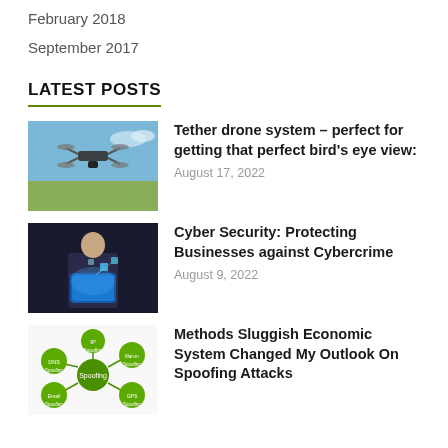February 2018
September 2017
LATEST POSTS
[Figure (photo): A drone flying in the sky over a field]
Tether drone system – perfect for getting that perfect bird's eye view:
August 17, 2022
[Figure (photo): A person in a suit holding a glowing digital tablet with cybersecurity icons]
Cyber Security: Protecting Businesses against Cybercrime
August 9, 2022
[Figure (infographic): A flowchart diagram with green circles showing types of spoofing attacks]
Methods Sluggish Economic System Changed My Outlook On Spoofing Attacks